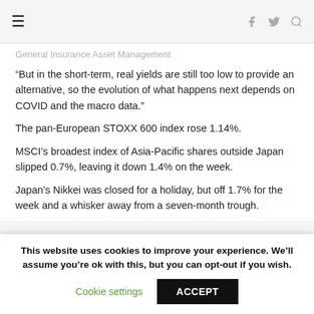General Insurance Asset Management
“But in the short-term, real yields are still too low to provide an alternative, so the evolution of what happens next depends on COVID and the macro data.”
The pan-European STOXX 600 index rose 1.14%.
MSCI’s broadest index of Asia-Pacific shares outside Japan slipped 0.7%, leaving it down 1.4% on the week.
Japan’s Nikkei was closed for a holiday, but off 1.7% for the week and a whisker away from a seven-month trough.
This website uses cookies to improve your experience. We’ll assume you’re ok with this, but you can opt-out if you wish.
Cookie settings    ACCEPT